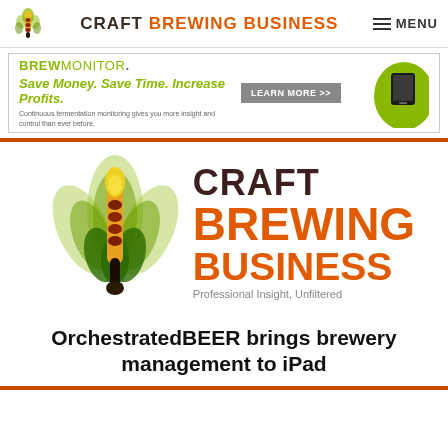CRAFT BREWING BUSINESS  MENU
[Figure (screenshot): BrewMonitor advertisement banner: 'BREWMONITOR. LEARN MORE >> Save Money. Save Time. Increase Profits. Continuous fermentation monitoring gives you more insight and control than ever before.' with product image on right and green/tan color scheme.]
[Figure (logo): Craft Brewing Business logo: decorative hop/flame icon on left, large text 'CRAFT BREWING BUSINESS' with 'Professional Insight, Unfiltered' tagline]
OrchestratedBEER brings brewery management to iPad